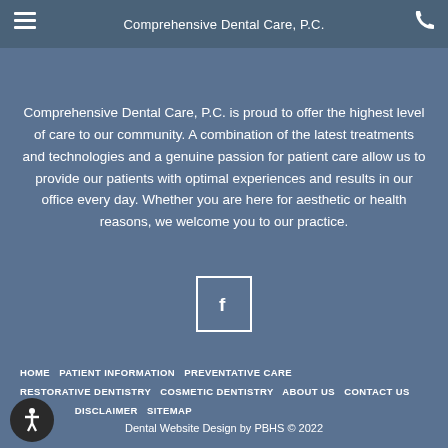Comprehensive Dental Care, P.C.
Comprehensive Dental Care, P.C. is proud to offer the highest level of care to our community. A combination of the latest treatments and technologies and a genuine passion for patient care allow us to provide our patients with optimal experiences and results in our office every day. Whether you are here for aesthetic or health reasons, we welcome you to our practice.
[Figure (logo): Facebook social media icon button with white 'f' letter inside a square border]
HOME   PATIENT INFORMATION   PREVENTATIVE CARE   RESTORATIVE DENTISTRY   COSMETIC DENTISTRY   ABOUT US   CONTACT US   DISCLAIMER   SITEMAP   Dental Website Design by PBHS © 2022